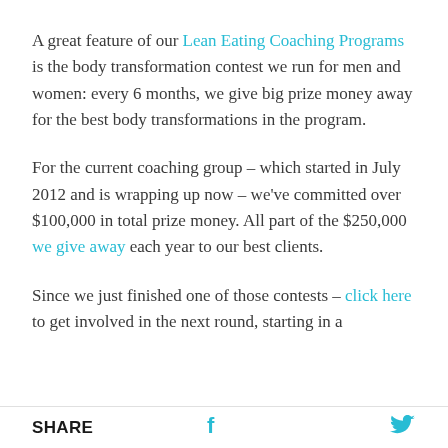A great feature of our Lean Eating Coaching Programs is the body transformation contest we run for men and women: every 6 months, we give big prize money away for the best body transformations in the program.
For the current coaching group – which started in July 2012 and is wrapping up now – we've committed over $100,000 in total prize money. All part of the $250,000 we give away each year to our best clients.
Since we just finished one of those contests – click here to get involved in the next round, starting in a
SHARE